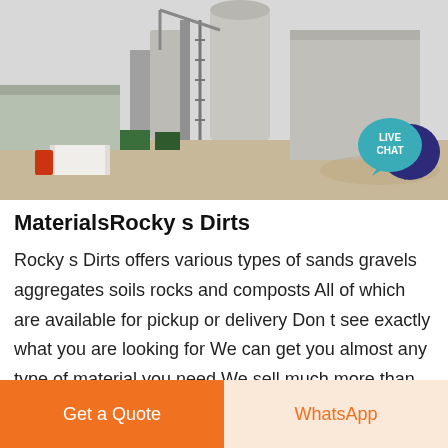[Figure (photo): Industrial facility / construction materials plant with silos, scaffolding, and equipment on a dusty site]
[Figure (infographic): Live Chat speech bubble icon in teal and dark blue]
MaterialsRocky s Dirts
Rocky s Dirts offers various types of sands gravels aggregates soils rocks and composts All of which are available for pickup or delivery Don t see exactly what you are looking for We can get you almost any type of material you need We sell much more than what is listed on our website Send us a